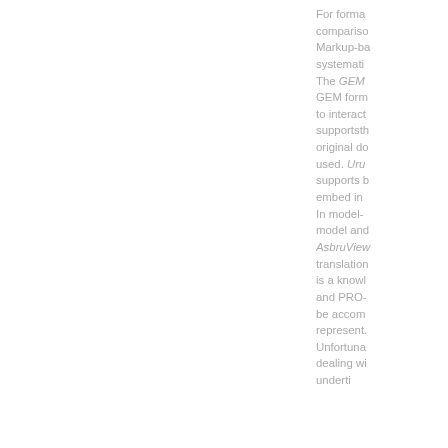For formal comparison, Markup-based systematically. The GEM form GEM form to interact supportsth original do used. Uru supports b embed in In model- model and AsbruView translation is a knowl and PRO- be accom represent. Unfortuna dealing wi underti